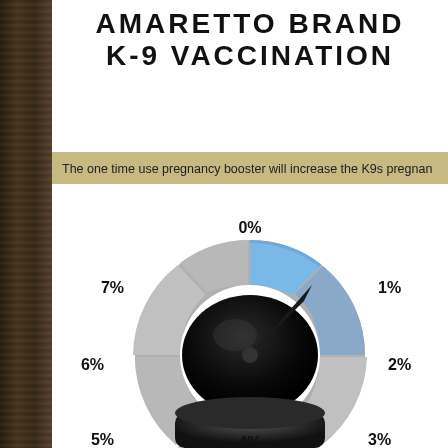AMARETTO BRAND K-9 VACCINATION
The one time use pregnancy booster will increase the K9s pregnan...
[Figure (donut-chart): A donut/dial chart showing vaccination percentage segments 0% through 7%, with 0% and 1% highlighted in blue, remaining segments in gray, and a large black central dial element.]